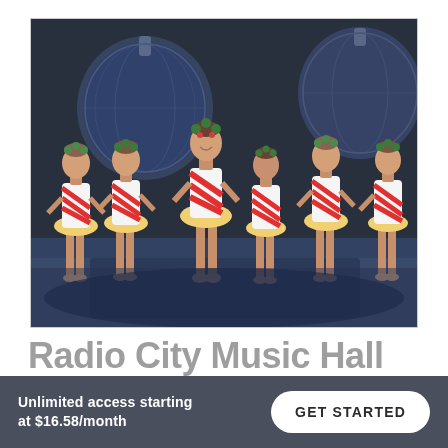[Figure (photo): Six female dancers (Rockettes) performing on stage at Radio City Music Hall, wearing red and white candy cane striped bodices with golden yellow tutus and floral headpieces. The background shows large decorative Christmas ornaments in blue-grey tones on a dark stage.]
Radio City Music Hall
Unlimited access starting at $16.58/month
GET STARTED